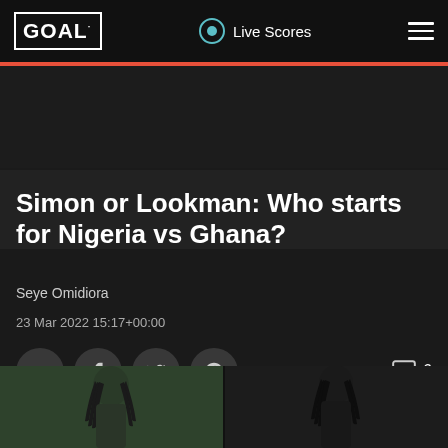GOAL · Live Scores
Simon or Lookman: Who starts for Nigeria vs Ghana?
Seye Omidiora
23 Mar 2022 15:17+00:00
[Figure (photo): Two football players side by side — Moses Simon and Lookman — split image at the bottom of the page]